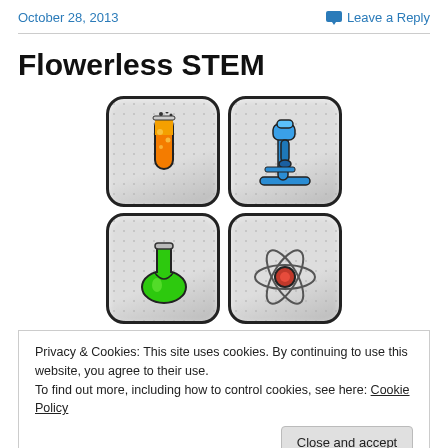October 28, 2013    Leave a Reply
Flowerless STEM
[Figure (illustration): Four LEGO-style science icon tiles in a 2x2 grid: top-left shows a bubbling orange test tube, top-right shows a blue microscope, bottom-left shows a green flask, bottom-right shows a red atom symbol]
Privacy & Cookies: This site uses cookies. By continuing to use this website, you agree to their use.
To find out more, including how to control cookies, see here: Cookie Policy
Close and accept
plants when hearing it. The origin of Science, Technology